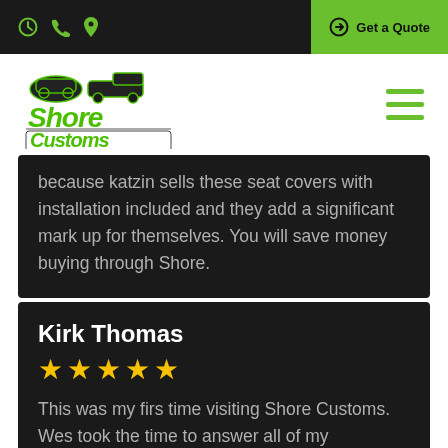Shore Customs website header with icons and Get a Quote button
[Figure (logo): Shore Customs logo with car and truck silhouettes above stylized text 'Shore Customs']
because katzin sells these seat covers with installation included and they add a significant mark up for themselves. You will save money buying through Shore.
Kirk Thomas
[Figure (other): 5 gold star rating icons]
This was my firs time visiting Shore Customs. Wes took the time to answer all of my questions. He was very